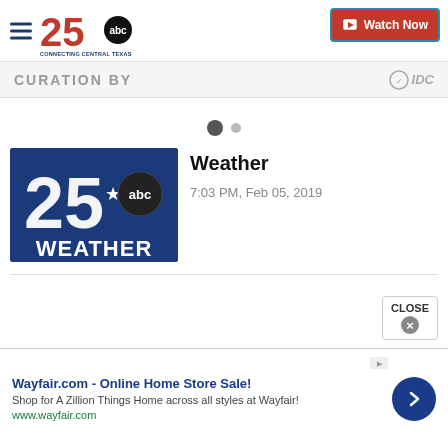25 abc CONNECTING CENTRAL TEXAS | Watch Now
CURATION BY
[Figure (screenshot): Two navigation dots, one filled dark and one lighter, indicating carousel position]
[Figure (logo): 25 abc WEATHER logo on dark blue background with large 25 and star, abc circle, and WEATHER text]
Weather
7:03 PM, Feb 05, 2019
Wayfair.com - Online Home Store Sale!
Shop for A Zillion Things Home across all styles at Wayfair!
www.wayfair.com
CLOSE